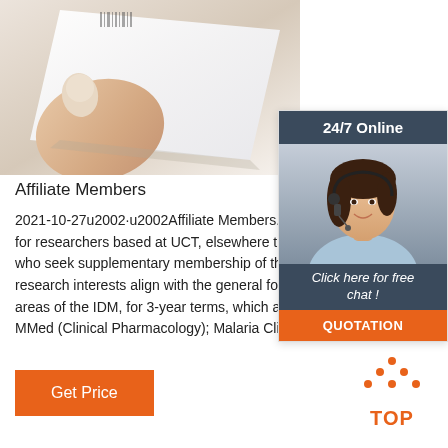[Figure (photo): Close-up photo of a hand holding a white rectangular object (possibly a medical test strip or card), light background.]
[Figure (infographic): Chat widget with '24/7 Online' header, image of a female customer service agent with headset, 'Click here for free chat!' call-to-action, and orange 'QUOTATION' button.]
Affiliate Members
2021-10-27u2002·u2002Affiliate Members. Affiliate members for researchers based at UCT, elsewhere than in the who seek supplementary membership of the IDM be research interests align with the general focus and c areas of the IDM, for 3-year terms, which are renew MMed (Clinical Pharmacology); Malaria Clinical ...
[Figure (infographic): Orange 'Get Price' button]
[Figure (infographic): Orange 'TOP' icon with dots forming a triangle above the word TOP]